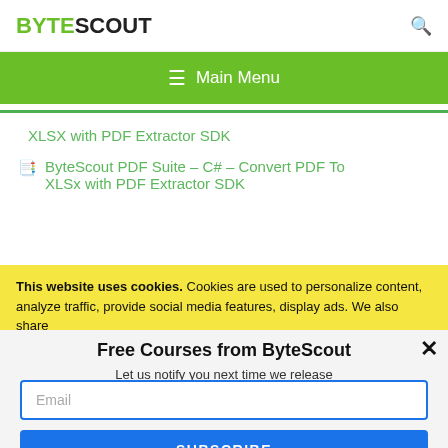BYTESCOUT
[Figure (screenshot): Navigation bar with green background showing hamburger menu icon and 'Main Menu' text]
XLSX with PDF Extractor SDK
ByteScout PDF Suite – C# – Convert PDF To XLSx with PDF Extractor SDK
This website uses cookies. Cookies are used to personalize content, analyze traffic, provide social media features, display ads. We also share
Free Courses from ByteScout
Let us notify you next time we release a new free video course.
Email
SUBSCRIBE